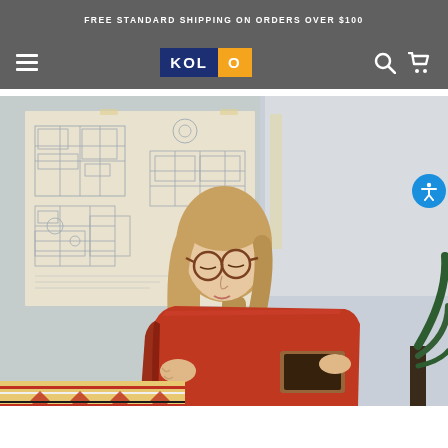FREE STANDARD SHIPPING ON ORDERS OVER $100
[Figure (logo): KOLO brand logo with dark blue background and orange O]
[Figure (photo): Woman with glasses and long blonde hair looking down at a large red portfolio/album book. Technical blueprint drawings pinned on wall behind her. Plant visible on right. Southwestern rug in foreground.]